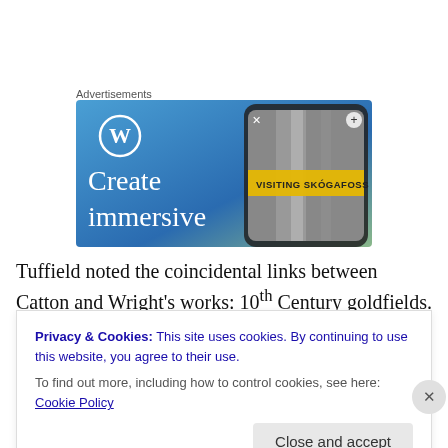Advertisements
[Figure (illustration): WordPress advertisement banner with blue gradient background showing WordPress logo (W in circle), text 'Create immersive' in white serif font, and a phone mockup showing a travel photo with caption 'VISITING SKÓGAFOSS']
Tuffield noted the coincidental links between Catton and Wright's works: 10th Century goldfields. Catton said she
Privacy & Cookies: This site uses cookies. By continuing to use this website, you agree to their use.
To find out more, including how to control cookies, see here: Cookie Policy
Close and accept